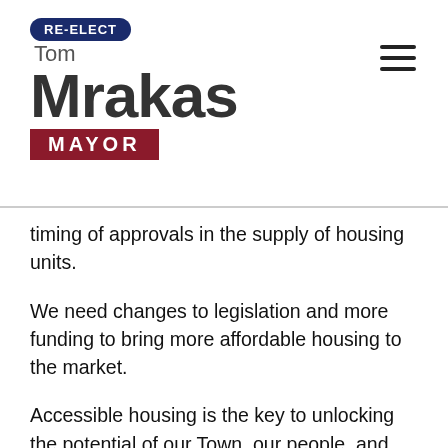RE-ELECT Tom Mrakas MAYOR
timing of approvals in the supply of housing units.
We need changes to legislation and more funding to bring more affordable housing to the market.
Accessible housing is the key to unlocking the potential of our Town, our people, and our businesses.
In reflecting on all of these amazing accomplishments, it’s even more exciting to look forward to the remainder of 2022 and beyond.
We can look forward to more investment in our